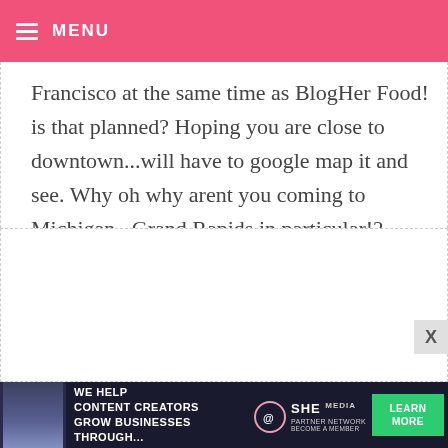MENU
Francisco at the same time as BlogHer Food! is that planned? Hoping you are close to downtown...will have to google map it and see. Why oh why arent you coming to Michigan...Grand Rapids in particular!? Please do we will be good to you Bakerella I promise. : D Sheila
NANCY K. — SEPTEMBER 6, 2010 @ 12:03 AM
REPLY
Hey Angie, I was so disappointed...